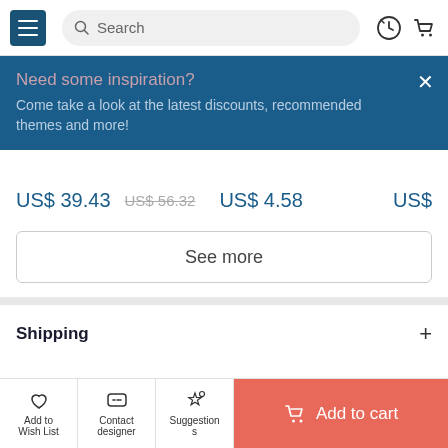[Figure (screenshot): Navigation bar with hamburger menu, search bar, history icon and cart icon]
Need some inspiration?
Come take a look at the latest discounts, recommended themes and more!
US$ 39.43  US$ 56.32    US$ 4.58    US$
See more
Shipping
Payment
Refunds & Exchanges
Add to Wish List  Contact designer  Suggestions  Add to cart